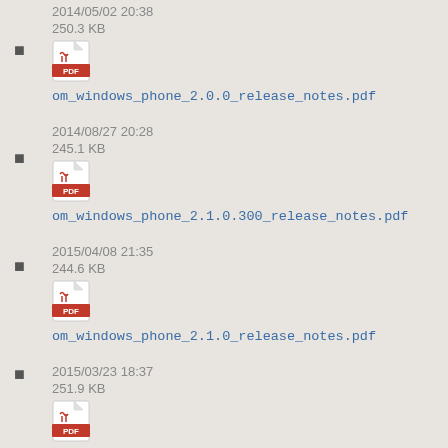2014/05/02 20:38
250.3 KB
om_windows_phone_2.0.0_release_notes.pdf
2014/08/27 20:28
245.1 KB
om_windows_phone_2.1.0.300_release_notes.pdf
2015/04/08 21:35
244.6 KB
om_windows_phone_2.1.0_release_notes.pdf
2015/03/23 18:37
251.9 KB